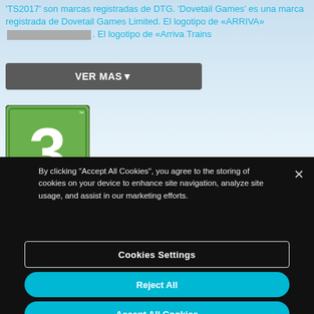'TS2017' son marcas registradas de DTG. 'Dovetail Games' es una marca registrada de Dovetail Games Limited. El logotipo de «ARRIVA» es una marca registrada de Arriva Plc. El logotipo de «Arriva Trains
[Figure (other): VER MAS button - dark grey rounded button with white text and dropdown arrow]
[Figure (logo): PEGI 3 rating badge - green square with large white number 3, www.pegi.info text below]
By clicking "Accept All Cookies", you agree to the storing of cookies on your device to enhance site navigation, analyze site usage, and assist in our marketing efforts.
[Figure (other): Cookies Settings button - transparent with white border]
[Figure (other): Reject All button - cyan/teal rounded button]
[Figure (other): Accept All Cookies button - cyan/teal rounded button]